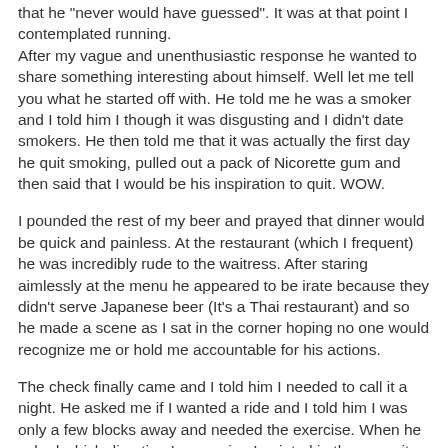that he "never would have guessed". It was at that point I contemplated running.
After my vague and unenthusiastic response he wanted to share something interesting about himself. Well let me tell you what he started off with. He told me he was a smoker and I told him I though it was disgusting and I didn't date smokers. He then told me that it was actually the first day he quit smoking, pulled out a pack of Nicorette gum and then said that I would be his inspiration to quit. WOW.
I pounded the rest of my beer and prayed that dinner would be quick and painless. At the restaurant (which I frequent) he was incredibly rude to the waitress. After staring aimlessly at the menu he appeared to be irate because they didn't serve Japanese beer (It's a Thai restaurant) and so he made a scene as I sat in the corner hoping no one would recognize me or hold me accountable for his actions.
The check finally came and I told him I needed to call it a night. He asked me if I wanted a ride and I told him I was only a few blocks away and needed the exercise. When he asked which direction I was going I pointed in the opposite